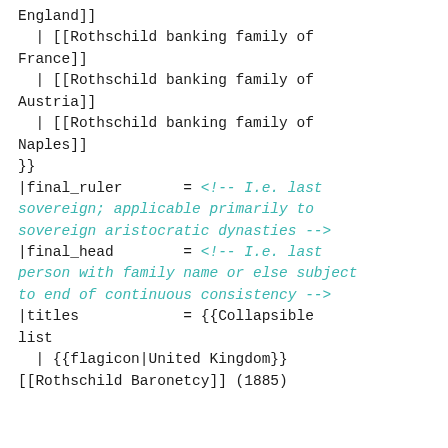England]]
  | [[Rothschild banking family of France]]
  | [[Rothschild banking family of Austria]]
  | [[Rothschild banking family of Naples]]
}}
|final_ruler       = <!-- I.e. last sovereign; applicable primarily to sovereign aristocratic dynasties -->
|final_head        = <!-- I.e. last person with family name or else subject to end of continuous consistency -->
|titles            = {{Collapsible list
  | {{flagicon|United Kingdom}}
[[Rothschild Baronetcy]] (1885)